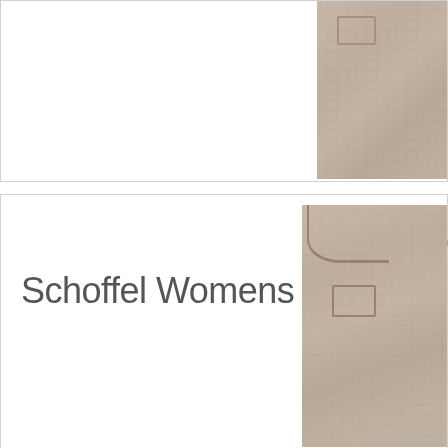[Figure (photo): Top portion of a Schoffel womens jacket/shirt in a light taupe/beige houndstooth fabric, showing shoulder and chest area with chest pocket, cropped at the bottom]
[Figure (photo): Schoffel Womens Lilymere shirt/jacket in light taupe/beige fabric, showing collar and upper body of model, partially cropped on right side of card]
£3
Schoffel Womens Lilymere